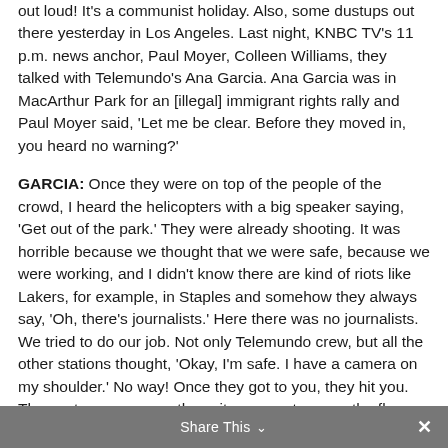out loud! It's a communist holiday. Also, some dustups out there yesterday in Los Angeles. Last night, KNBC TV's 11 p.m. news anchor, Paul Moyer, Colleen Williams, they talked with Telemundo's Ana Garcia. Ana Garcia was in MacArthur Park for an [illegal] immigrant rights rally and Paul Moyer said, 'Let me be clear. Before they moved in, you heard no warning?'
GARCIA: Once they were on top of the people of the crowd, I heard the helicopters with a big speaker saying, 'Get out of the park.' They were already shooting. It was horrible because we thought that we were safe, because we were working, and I didn't know there are kind of riots like Lakers, for example, in Staples and somehow they always say, 'Oh, there's journalists.' Here there was no journalists. We tried to do our job. Not only Telemundo crew, but all the other stations thought, 'Okay, I'm safe. I have a camera on my shoulder.' No way! Once they got to you, they hit you. They got your camera, throw it away, put you on the floor, and hit you more. It was horrible.
Share This ▾  ✕